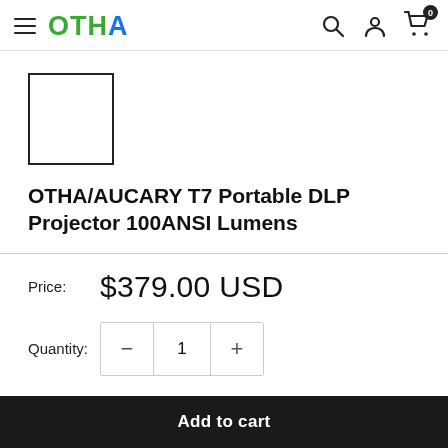OTHA — navigation header with hamburger menu, logo, search, account, and cart (0 items)
[Figure (other): Product image placeholder — empty white rectangle with black border]
OTHA/AUCARY T7 Portable DLP Projector 100ANSI Lumens
Price: $379.00 USD
Quantity: 1
Add to cart